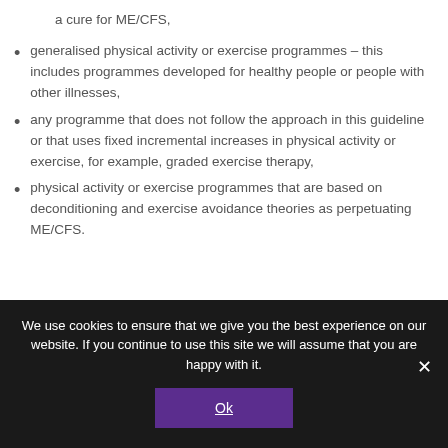a cure for ME/CFS,
generalised physical activity or exercise programmes – this includes programmes developed for healthy people or people with other illnesses,
any programme that does not follow the approach in this guideline or that uses fixed incremental increases in physical activity or exercise, for example, graded exercise therapy,
physical activity or exercise programmes that are based on deconditioning and exercise avoidance theories as perpetuating ME/CFS.
We use cookies to ensure that we give you the best experience on our website. If you continue to use this site we will assume that you are happy with it.